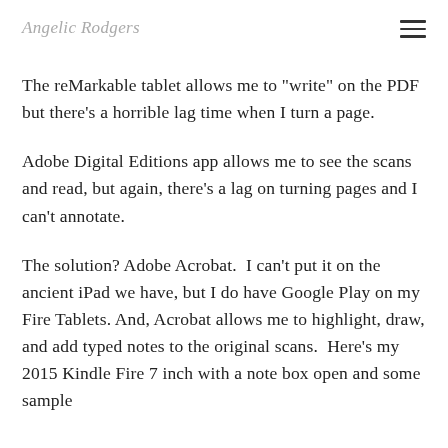Angelic Rodgers
The reMarkable tablet allows me to "write" on the PDF but there's a horrible lag time when I turn a page.
Adobe Digital Editions app allows me to see the scans and read, but again, there's a lag on turning pages and I can't annotate.
The solution? Adobe Acrobat.  I can't put it on the ancient iPad we have, but I do have Google Play on my Fire Tablets. And, Acrobat allows me to highlight, draw, and add typed notes to the original scans.  Here's my 2015 Kindle Fire 7 inch with a note box open and some sample